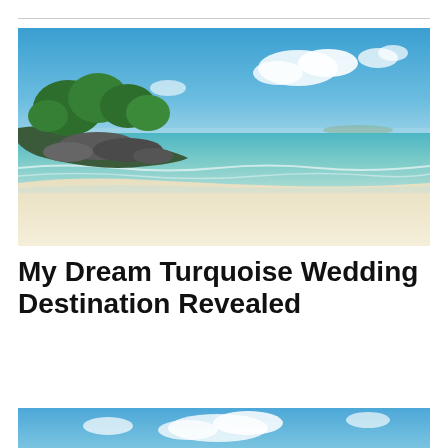[Figure (photo): Tropical beach scene with clear turquoise water, white sandy beach, and green trees on rocky coastline under blue sky with clouds]
My Dream Turquoise Wedding Destination Revealed
[Figure (photo): Partial view of another beach scene with blue sky and clouds, cropped at bottom of page]